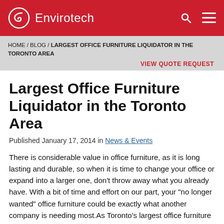Envirotech
HOME / BLOG / LARGEST OFFICE FURNITURE LIQUIDATOR IN THE TORONTO AREA
VIEW QUOTE REQUEST
Largest Office Furniture Liquidator in the Toronto Area
Published January 17, 2014 in News & Events
There is considerable value in office furniture, as it is long lasting and durable, so when it is time to change your office or expand into a larger one, don’t throw away what you already have. With a bit of time and effort on our part, your “no longer wanted” office furniture could be exactly what another company is needing most.As Toronto’s largest office furniture liquidator, we are making it easy for people to get rid of their used office furniture and sell it at a discounted